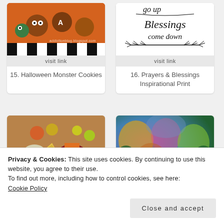[Figure (photo): Halloween Monster Cookies on orange background with striped decoration]
visit link
15. Halloween Monster Cookies
[Figure (illustration): Prayers go up Blessings come down inspirational print with wheat wreath decoration]
visit link
16. Prayers & Blessings Inspirational Print
[Figure (photo): Charcuterie board with cheese, fruits, meats and crackers]
[Figure (photo): Colorful forest with autumn foliage in purple, yellow and green tones]
Privacy & Cookies: This site uses cookies. By continuing to use this website, you agree to their use.
To find out more, including how to control cookies, see here:
Cookie Policy
Close and accept